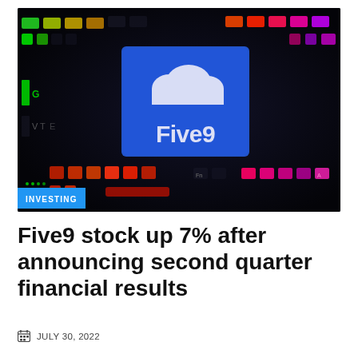[Figure (photo): Close-up photo of a dark RGB keyboard with colorful backlighting (green, yellow, orange, red, pink, purple keys). In the center is a blue square chip/key displaying the Five9 cloud logo and wordmark in white. An 'INVESTING' badge in blue is overlaid in the bottom-left corner of the image.]
Five9 stock up 7% after announcing second quarter financial results
JULY 30, 2022